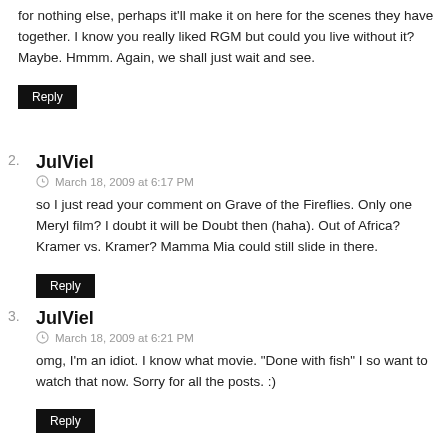for nothing else, perhaps it'll make it on here for the scenes they have together. I know you really liked RGM but could you live without it? Maybe. Hmmm. Again, we shall just wait and see.
Reply
JulViel
March 18, 2009 at 6:17 PM
so I just read your comment on Grave of the Fireflies. Only one Meryl film? I doubt it will be Doubt then (haha). Out of Africa? Kramer vs. Kramer? Mamma Mia could still slide in there.
Reply
JulViel
March 18, 2009 at 6:21 PM
omg, I'm an idiot. I know what movie. "Done with fish" I so want to watch that now. Sorry for all the posts. :)
Reply